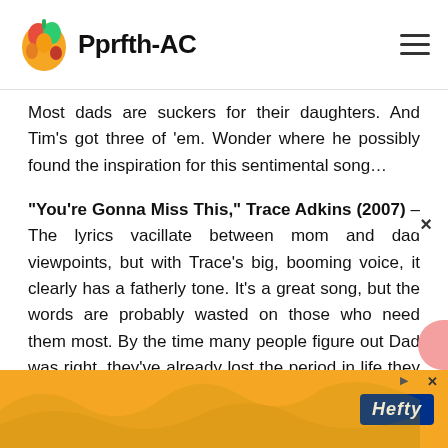Pprfth-AC
Most dads are suckers for their daughters. And Tim's got three of 'em. Wonder where he possibly found the inspiration for this sentimental song…
“You’re Gonna Miss This,” Trace Adkins (2007) – The lyrics vacillate between mom and dad viewpoints, but with Trace’s big, booming voice, it clearly has a fatherly tone. It's a great song, but the words are probably wasted on those who need them most. By the time many people figure out Dad was right, they’ve already lost the period in life they should have savored.
[Figure (other): Advertisement banner with orange background and Hefty logo]